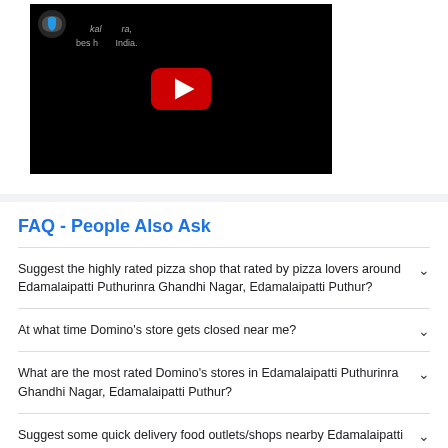[Figure (screenshot): YouTube video thumbnail embedded on a webpage, showing a dark background with a red YouTube play button and partial text visible]
FAQ - People Also Ask
Suggest the highly rated pizza shop that rated by pizza lovers around Edamalaipatti Puthurinra Ghandhi Nagar, Edamalaipatti Puthur?
At what time Domino's store gets closed near me?
What are the most rated Domino's stores in Edamalaipatti Puthurinra Ghandhi Nagar, Edamalaipatti Puthur?
Suggest some quick delivery food outlets/shops nearby Edamalaipatti Puthurinra Ghandhi Nagar, Edamalaipatti Puthur?
Which is the latest launched Domino's store in Tiruchirapalli?
Which is the best restaurants near Edamalaipatti Puthurinra